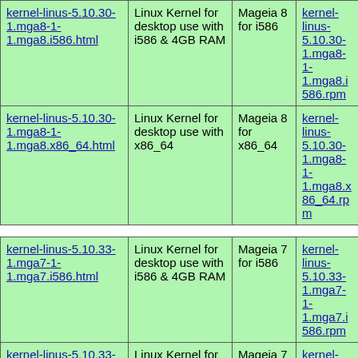| kernel-linus-5.10.30-1.mga8-1-1.mga8.i586.html | Linux Kernel for desktop use with i586 & 4GB RAM | Mageia 8 for i586 | kernel-linus-5.10.30-1.mga8-1-1.mga8.i586.rpm |
| kernel-linus-5.10.30-1.mga8-1-1.mga8.x86_64.html | Linux Kernel for desktop use with x86_64 | Mageia 8 for x86_64 | kernel-linus-5.10.30-1.mga8-1-1.mga8.x86_64.rpm |
| kernel-linus-5.10.33-1.mga7-1-1.mga7.i586.html | Linux Kernel for desktop use with i586 & 4GB RAM | Mageia 7 for i586 | kernel-linus-5.10.33-1.mga7-1-1.mga7.i586.rpm |
| kernel-linus-5.10.33-1.mga7-1-1.mga7.x86_64.html | Linux Kernel for desktop use with x86_64 | Mageia 7 for x86_64 | kernel-linus-5.10.33-1.mga7-1-1.mga7.x86_64.rpm |